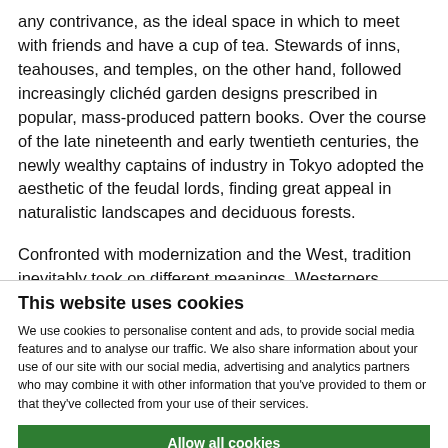any contrivance, as the ideal space in which to meet with friends and have a cup of tea. Stewards of inns, teahouses, and temples, on the other hand, followed increasingly clichéd garden designs prescribed in popular, mass-produced pattern books. Over the course of the late nineteenth and early twentieth centuries, the newly wealthy captains of industry in Tokyo adopted the aesthetic of the feudal lords, finding great appeal in naturalistic landscapes and deciduous forests.
Confronted with modernization and the West, tradition inevitably took on different meanings. Westerners, seeking to understand Japanese garden culture, found their answers in the pattern-book clichés, while in Japan, private landscapes became public
This website uses cookies
We use cookies to personalise content and ads, to provide social media features and to analyse our traffic. We also share information about your use of our site with our social media, advertising and analytics partners who may combine it with other information that you've provided to them or that they've collected from your use of their services.
Allow all cookies
Allow selection